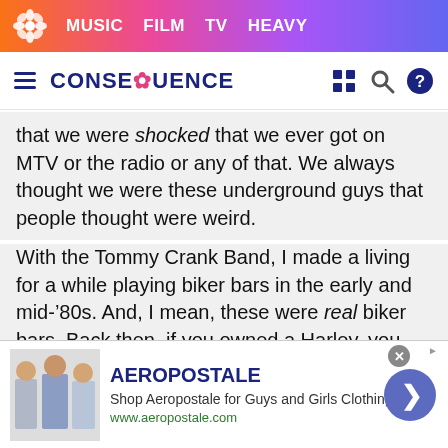MUSIC  FILM  TV  HEAVY
[Figure (logo): Consequence of Sound logo with hamburger menu, grid, search, and help icons in secondary navigation bar]
that we were shocked that we ever got on MTV or the radio or any of that. We always thought we were these underground guys that people thought were weird.
With the Tommy Crank Band, I made a living for a while playing biker bars in the early and mid-'80s. And, I mean, these were real biker bars. Back then, if you owned a Harley, you were a Hell's Angel; there were no dentists riding Harleys back then. I would play all this old R&B — like James Brown, Booker T. and the M.G.'s, The Meters, Sam & Dave
[Figure (screenshot): Aeropostale advertisement banner with logo, slogan 'Shop Aeropostale for Guys and Girls Clothing', URL www.aeropostale.com, clothing images, navigation arrow, and close button]